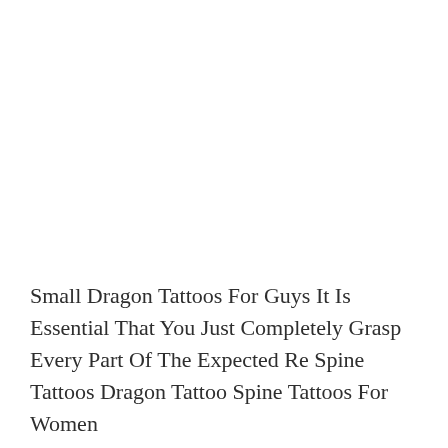Small Dragon Tattoos For Guys It Is Essential That You Just Completely Grasp Every Part Of The Expected Re Spine Tattoos Dragon Tattoo Spine Tattoos For Women